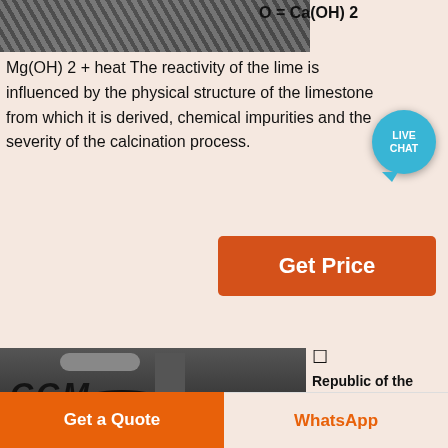[Figure (photo): Industrial machinery photo at top]
O = Ca(OH) 2
Mg(OH) 2 + heat The reactivity of the lime is influenced by the physical structure of the limestone from which it is derived, chemical impurities and the severity of the calcination process.
[Figure (other): Live Chat bubble icon]
Get Price
[Figure (photo): Industrial lime mill photo with CCM watermark and workers]
[] Republic of the Philippines Congress of Philippines one hectares (81 has). 3 (c) "Bureau" means
Get a Quote
WhatsApp